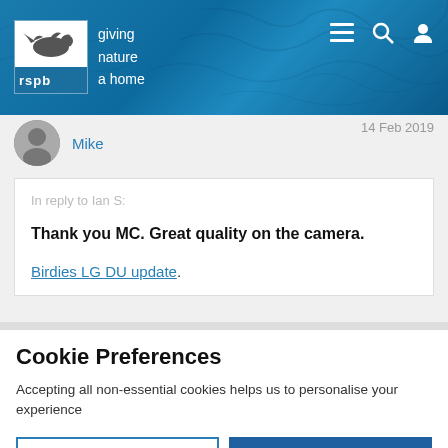[Figure (logo): RSPB logo with bird silhouette and tagline 'giving nature a home', on blue cracked-texture header with navigation icons]
Mike
14 Feb 2019
In reply to Ian S:
Thank you MC. Great quality on the camera.
Birdies LG DU update.
Cookie Preferences
Accepting all non-essential cookies helps us to personalise your experience
EDIT SETTINGS
ACCEPT ALL